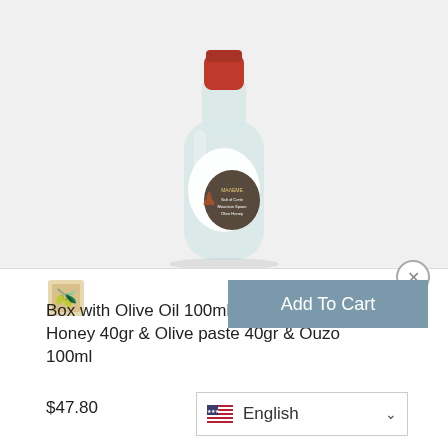[Figure (photo): A glass bottle with a red cap and a label showing a figure/person, text reads 'Salt of Crete Mountain Spoon Olive Honey'. Product appears to be Ouzo or similar Greek spirit/drink.]
[Figure (photo): Small thumbnail icon of a product box with olive oil and related items]
Box with Olive Oil 100ml & Small Towel & Honey 40gr & Olive paste 40gr & Ouzo 100ml
$47.80
Add To Cart
English